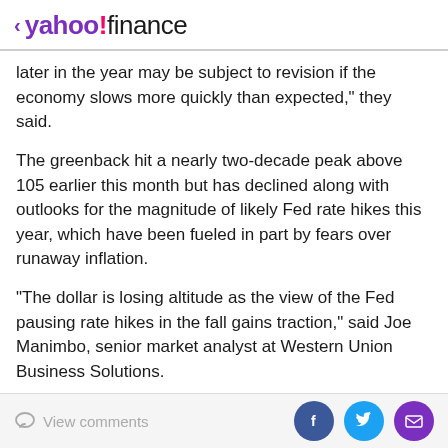< yahoo!finance
later in the year may be subject to revision if the economy slows more quickly than expected," they said.
The greenback hit a nearly two-decade peak above 105 earlier this month but has declined along with outlooks for the magnitude of likely Fed rate hikes this year, which have been fueled in part by fears over runaway inflation.
"The dollar is losing altitude as the view of the Fed pausing rate hikes in the fall gains traction," said Joe Manimbo, senior market analyst at Western Union Business Solutions.
Minutes from the Fed's May meeting this week showed most participants believed 50 basis-point hikes would be
View comments